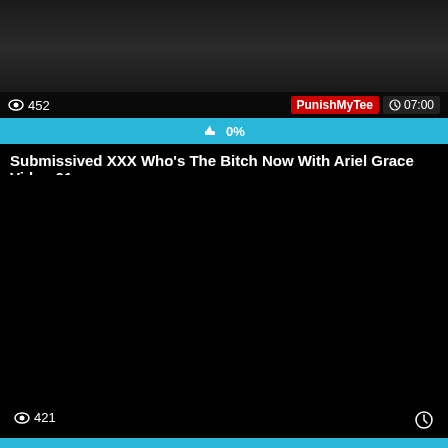[Figure (screenshot): Video thumbnail showing two people, with view count 452 and channel name PunishMyTee with duration 07:00]
452
PunishMyTee 07:00
0%
Submissived XXX Who's The Bitch Now With Ariel Grace Video-01
[Figure (screenshot): Social sharing buttons: Facebook, Twitter, Email, Pinterest, Tumblr, Reddit, Blogger, WordPress, VK, More. Scroll-to-top button. Bottom view count 421 and clock icon.]
421